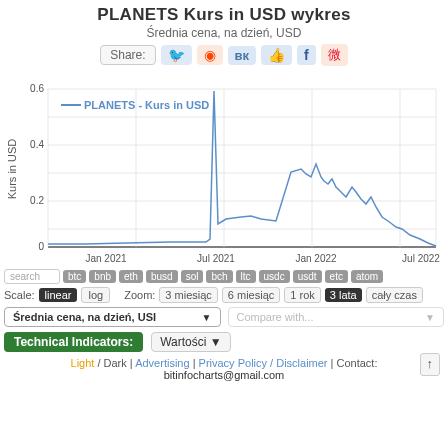PLANETS Kurs in USD wykres
Średnia cena, na dzień, USD
[Figure (continuous-plot): Line chart of PLANETS price in USD from Jan 2021 to Jul 2022. Price spikes to ~0.70 around Jul 2021, then falls, rises again to ~0.47 around Jan 2022 with peaks around 0.38-0.47, then declines steadily to near 0 by Jul 2022.]
search   btc  bnb  eth  busd  sol  bch  ltc  usdc  usdt  etc  atom
Scale: linear  log    Zoom: 3 miesiąc  6 miesiąc  1 rok  3 lata  cały czas
Średnia cena, na dzień, USI
Compare with...
Technical Indicators:  Wartości
Light / Dark | Advertising | Privacy Policy / Disclaimer | Contact: bitinfocharts@gmail.com